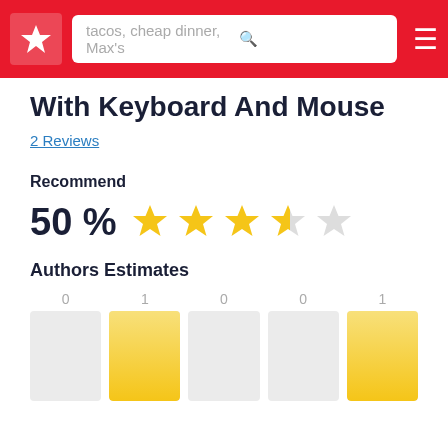tacos, cheap dinner, Max's [search bar]
With Keyboard And Mouse
2 Reviews
Recommend
50 % ★★★★☆
Authors Estimates
[Figure (bar-chart): Authors Estimates]